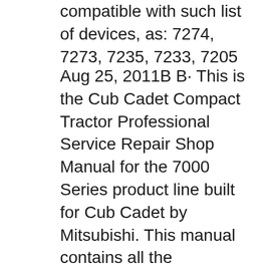compatible with such list of devices, as: 7274, 7273, 7235, 7233, 7205
Aug 25, 2011B B· This is the Cub Cadet Compact Tractor Professional Service Repair Shop Manual for the 7000 Series product line built for Cub Cadet by Mitsubishi. This manual contains all the information you need to properly perform complex repairs on the entire machine (including Mitsubishi engines). вЂ" Professional Service Repair Shop Manual: 324-Pages 9 Jun 04, 2013B B· Cub Cadet 7305 Compact Tractor Service Manual. Cub Cadet 7000 Series Compact Tractor. Pages in .pdf format. 93.8 MB in .zip format for super fast downloads! This factory Cub Cadet